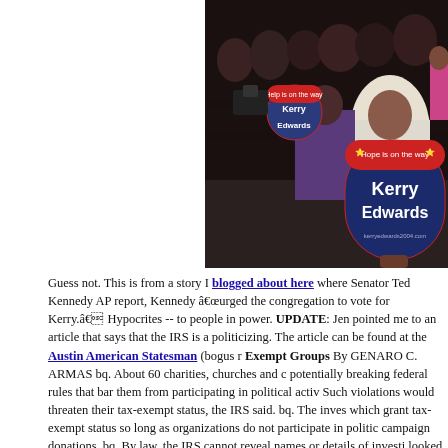[Figure (photo): Photo of church congregation members holding Kerry-Edwards campaign fans/signs with 'Hope is on the way' text, taken inside a church]
Guess not. This is from a story I blogged about here where Senator Ted Kennedy AP report, Kennedy urged the congregation to vote for Kerry. Hypocrites -- to people in power. UPDATE: Jen pointed me to an article that says that the IRS is a politicizing. The article can be found at the Austin American Statesman (bogus r Exempt Groups By GENARO C. ARMAS bq. About 60 charities, churches and c potentially breaking federal rules that bar them from participating in political activ Such violations would threaten their tax-exempt status, the IRS said. bq. The inves which grant tax-exempt status so long as organizations do not participate in politic campaign donations. bq. By law, the IRS cannot reveal names or details of investi looked into were churches. bq. Heightened concerns about improper political activ committee of career civil servants to look into potential political violations by tax- web are these stories: From Philly.com: bq. IRS asked to probe political activity IRS to investigate "inappropriate and possibly illegal" political activity at one of P Airy Church of God in Christ. bq. The 5,000-member mega-church is led by Bisho